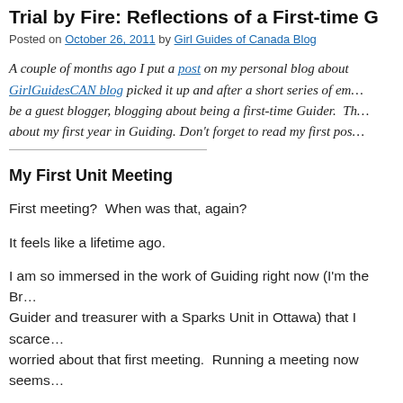Trial by Fire: Reflections of a First-time G…
Posted on October 26, 2011 by Girl Guides of Canada Blog
A couple of months ago I put a post on my personal blog about … GirlGuidesCAN blog picked it up and after a short series of ema… be a guest blogger, blogging about being a first-time Guider. Th… about my first year in Guiding. Don't forget to read my first pos…
My First Unit Meeting
First meeting?  When was that, again?
It feels like a lifetime ago.
I am so immersed in the work of Guiding right now (I'm the Br… Guider and treasurer with a Sparks Unit in Ottawa) that I scarce… worried about that first meeting.  Running a meeting now seems…
Learn by doing.  Turns out I was right about that.  Who knew?!…